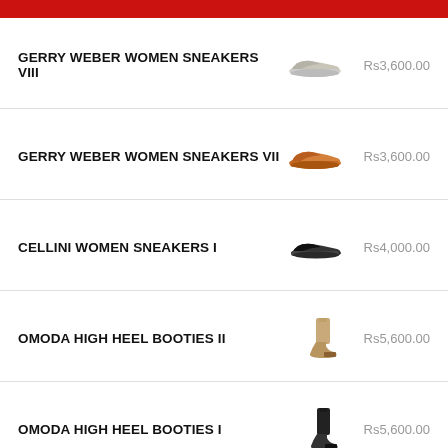GERRY WEBER WOMEN SNEAKERS VIII  Rs3,600.00
GERRY WEBER WOMEN SNEAKERS VII  Rs3,600.00
CELLINI WOMEN SNEAKERS I  Rs4,000.00
OMODA HIGH HEEL BOOTIES II  Rs5,600.00
OMODA HIGH HEEL BOOTIES I  Rs5,600.00
Social media icons: Facebook, Instagram; WhatsApp button